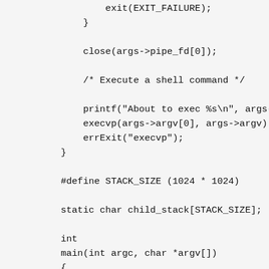exit(EXIT_FAILURE);
        }

        close(args->pipe_fd[0]);

        /* Execute a shell command */

        printf("About to exec %s\n", args->
        execvp(args->argv[0], args->argv);
        errExit("execvp");
    }

    #define STACK_SIZE (1024 * 1024)

    static char child_stack[STACK_SIZE];

    int
    main(int argc, char *argv[])
    {